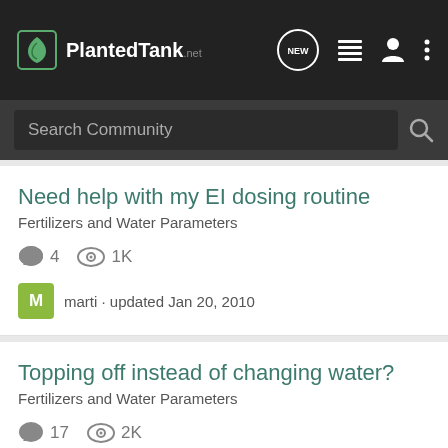PlantedTank
Search Community
Need help with my EI dosing routine
Fertilizers and Water Parameters
4 comments · 1K views
marti · updated Jan 20, 2010
Topping off instead of changing water?
Fertilizers and Water Parameters
17 comments · 2K views
jaekwong · updated Jan 7, 2014
Can you recommend a liquid fert Regime?